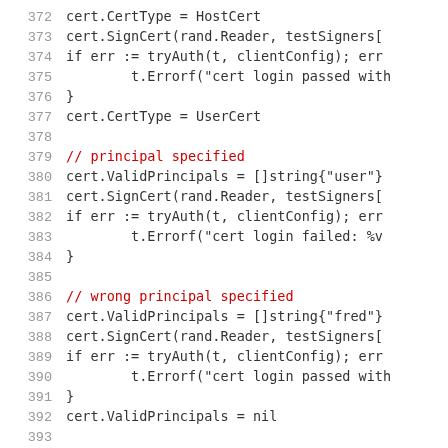372  cert.CertType = HostCert
373  cert.SignCert(rand.Reader, testSigners[
374  if err := tryAuth(t, clientConfig); err
375          t.Errorf("cert login passed with
376  }
377  cert.CertType = UserCert
378  
379  // principal specified
380  cert.ValidPrincipals = []string{"user"}
381  cert.SignCert(rand.Reader, testSigners[
382  if err := tryAuth(t, clientConfig); err
383          t.Errorf("cert login failed: %v
384  }
385  
386  // wrong principal specified
387  cert.ValidPrincipals = []string{"fred"}
388  cert.SignCert(rand.Reader, testSigners[
389  if err := tryAuth(t, clientConfig); err
390          t.Errorf("cert login passed with
391  }
392  cert.ValidPrincipals = nil
393